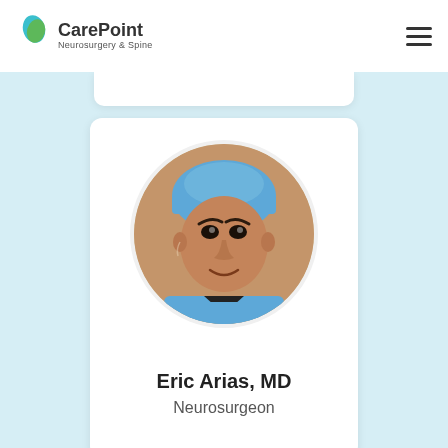[Figure (logo): CarePoint Neurosurgery & Spine logo with teal/green leaf icon]
[Figure (photo): Hamburger menu icon (three horizontal lines)]
[Figure (photo): Circular portrait photo of Dr. Eric Arias wearing blue surgical scrubs and cap]
Eric Arias, MD
Neurosurgeon